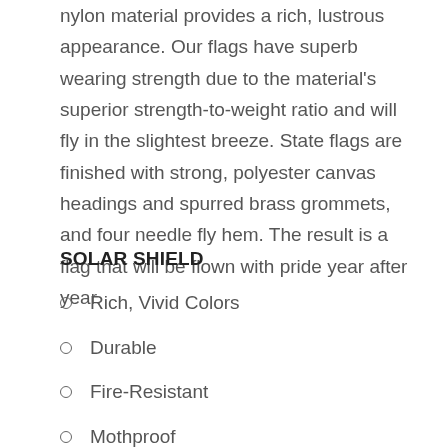nylon material provides a rich, lustrous appearance. Our flags have superb wearing strength due to the material's superior strength-to-weight ratio and will fly in the slightest breeze. State flags are finished with strong, polyester canvas headings and spurred brass grommets, and four needle fly hem. The result is a flag that will be flown with pride year after year.
SOLAR SHIELD
Rich, Vivid Colors
Durable
Fire-Resistant
Mothproof